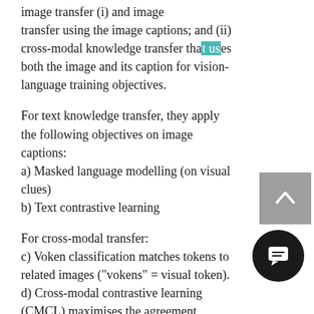image transfer (i) and image transfer using the image captions; and (ii) cross-modal knowledge transfer that uses both the image and its caption for vision-language training objectives.
For text knowledge transfer, they apply the following objectives on image captions:
a) Masked language modelling (on visual clues)
b) Text contrastive learning
For cross-modal transfer:
c) Voken classification matches tokens to related images ("vokens" = visual token).
d) Cross-modal contrastive learning (CMCL) maximises the agreement between correct image-caption pairs versus random pairs.
e) Cross-modal knowledge distillation distils knowledge from a teacher model that is trained using CMCL to a stu LM.
The figure below provides an overview of